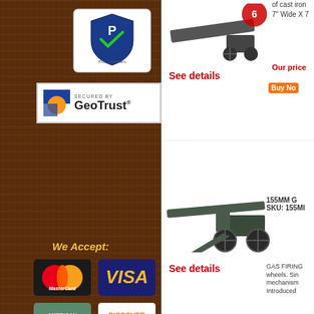[Figure (logo): PCI Compliant Confirmed badge with checkmark]
[Figure (logo): Secured by GeoTrust badge]
We Accept:
[Figure (logo): MasterCard logo]
[Figure (logo): VISA logo]
[Figure (logo): American Express logo]
[Figure (logo): Discover logo]
[Figure (photo): Cannon toy/replica product image top]
See details
155MM G... SKU: 155MI...
GAS FIRING wheels. Sin mechanisms Introduced
Our price
[Figure (photo): 155MM Gas firing cannon replica product image]
See details
Our price
Buy Now
Result pages:  1  2  ▶
[Figure (logo): Authorize.Net Verified Merchant seal]
Accept Credit Cards
Copyright © 2004-2022 Replica Guns S